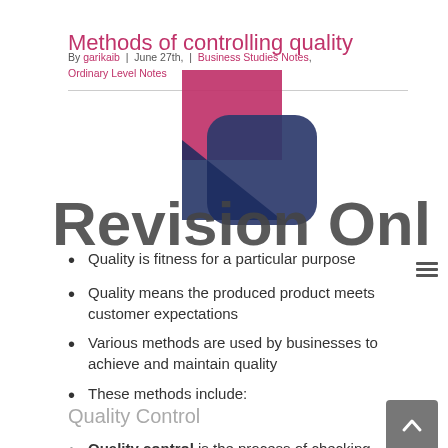Methods of controlling quality
By garikaib | June 27th, ... | Business Studies Notes, Ordinary Level Notes
[Figure (logo): Revision Online logo with geometric shapes in dark red, dark blue, and white, with text 'Revision Online' in large dark gray letters]
Quality is fitness for a particular purpose
Quality means the produced product meets customer expectations
Various methods are used by businesses to achieve and maintain quality
These methods include:
Quality Control
Quality control is the process of checking...